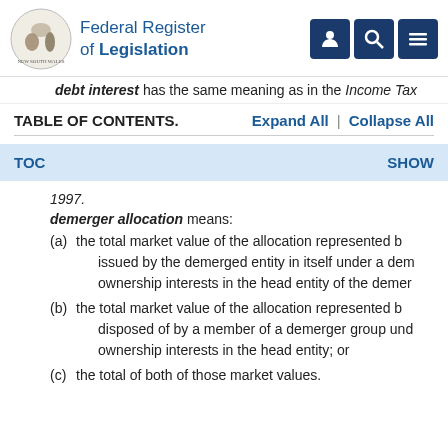Federal Register of Legislation
debt interest has the same meaning as in the Income Tax
TABLE OF CONTENTS.
Expand All | Collapse All
TOC    SHOW
1997.
demerger allocation means:
(a)  the total market value of the allocation represented b... issued by the demerged entity in itself under a dem... ownership interests in the head entity of the demer...
(b)  the total market value of the allocation represented b... disposed of by a member of a demerger group und... ownership interests in the head entity; or
(c)  the total of both of those market values.